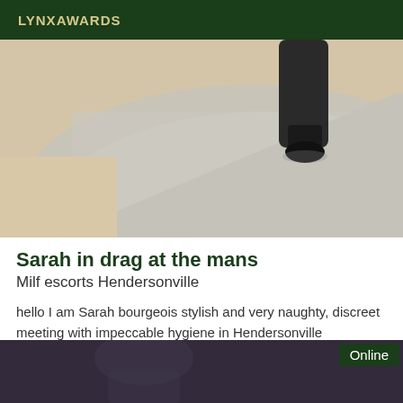LYNXAWARDS
[Figure (photo): Close-up photo of dark shoe/boot heel on a light fluffy carpet or rug, beige floor visible]
Sarah in drag at the mans
Milf escorts Hendersonville
hello I am Sarah bourgeois stylish and very naughty, discreet meeting with impeccable hygiene in Hendersonville
[Figure (photo): Partially visible dark/moody photo of a person, with an Online badge overlay in dark green]